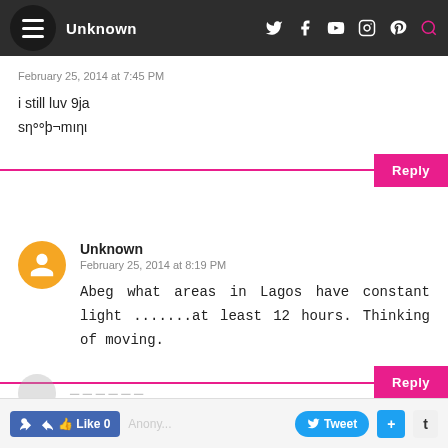Unknown
February 25, 2014 at 7:45 PM
i still luv 9ja
sηᵒᵒþ¬mıηι
Unknown
February 25, 2014 at 8:19 PM
Abeg what areas in Lagos have constant light .......at least 12 hours. Thinking of moving.
Like 0  Anonymo...  Tweet  +  t